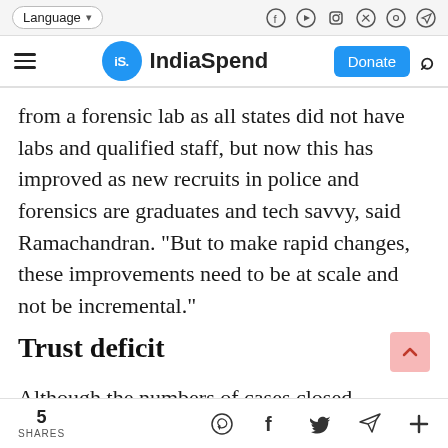Language | IndiaSpend | Donate
from a forensic lab as all states did not have labs and qualified staff, but now this has improved as new recruits in police and forensics are graduates and tech savvy, said Ramachandran. "But to make rapid changes, these improvements need to be at scale and not be incremental."
Trust deficit
Although the numbers of cases closed annually
5 SHARES